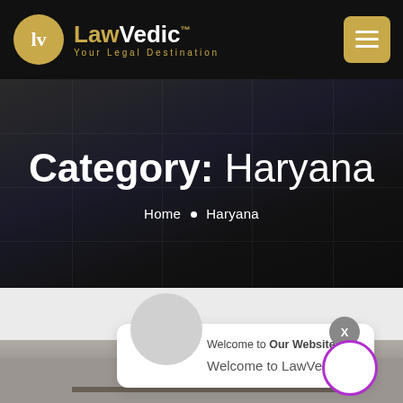LawVedic™ — Your Legal Destination
Category: Haryana
Home • Haryana
Welcome to Our Website!
Welcome to LawVedic
[Figure (screenshot): LawVedic website screenshot showing header with logo, hero banner with Category: Haryana title, breadcrumb navigation, and a chat popup with welcome message.]